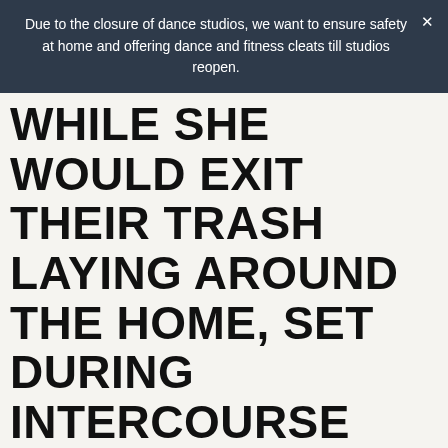Due to the closure of dance studios, we want to ensure safety at home and offering dance and fitness cleats till studios reopen.
WHILE SHE WOULD EXIT THEIR TRASH LAYING AROUND THE HOME, SET DURING INTERCOURSE ALL DAY AND NIGHT, EXCEPT WHENEVER SHE NEEDED TO WADE GET THIS LADY BY IN THE DOG